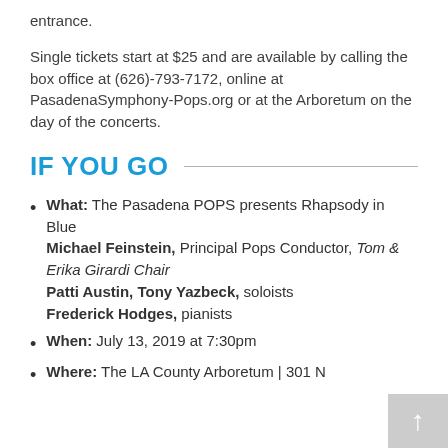entrance.
Single tickets start at $25 and are available by calling the box office at (626)-793-7172, online at PasadenaSymphony-Pops.org or at the Arboretum on the day of the concerts.
IF YOU GO
What: The Pasadena POPS presents Rhapsody in Blue
Michael Feinstein, Principal Pops Conductor, Tom & Erika Girardi Chair
Patti Austin, Tony Yazbeck, soloists
Frederick Hodges, pianists
When: July 13, 2019 at 7:30pm
Where: The LA County Arboretum | 301 N